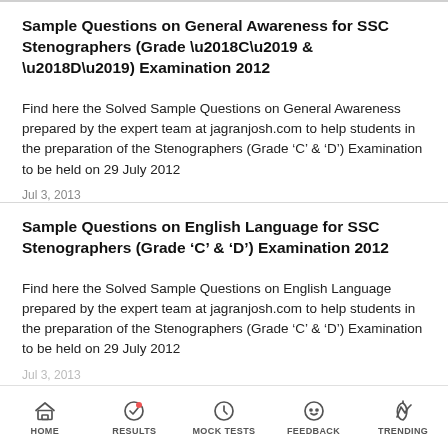Sample Questions on General Awareness for SSC Stenographers (Grade ‘C’ & ‘D’) Examination 2012
Find here the Solved Sample Questions on General Awareness prepared by the expert team at jagranjosh.com to help students in the preparation of the Stenographers (Grade ‘C’ & ‘D’) Examination to be held on 29 July 2012
Jul 3, 2013
Sample Questions on English Language for SSC Stenographers (Grade ‘C’ & ‘D’) Examination 2012
Find here the Solved Sample Questions on English Language prepared by the expert team at jagranjosh.com to help students in the preparation of the Stenographers (Grade ‘C’ & ‘D’) Examination to be held on 29 July 2012
Jul 3, 2013
HOME | RESULTS | MOCK TESTS | FEEDBACK | TRENDING